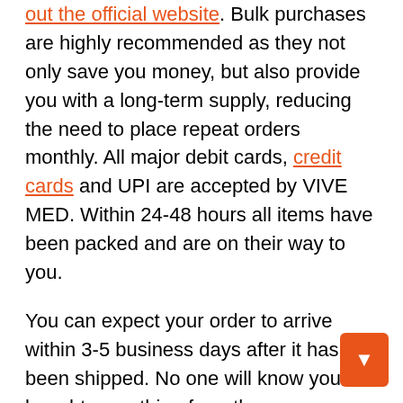out the official website. Bulk purchases are highly recommended as they not only save you money, but also provide you with a long-term supply, reducing the need to place repeat orders monthly. All major debit cards, credit cards and UPI are accepted by VIVE MED. Within 24-48 hours all items have been packed and are on their way to you.

You can expect your order to arrive within 3-5 business days after it has been shipped. No one will know you bought something from the company until you tell them, thanks to the company's discreet product packaging. You should move as soon as possible because the company is currently offering the following attractive offer...